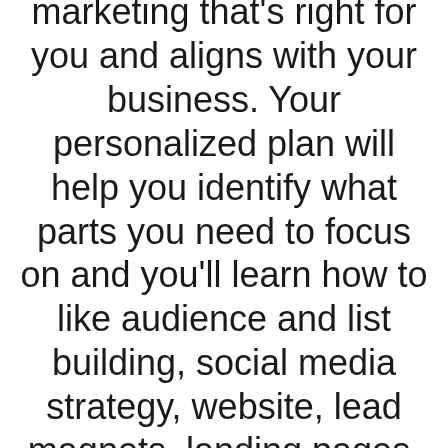marketing that's right for you and aligns with your business. Your personalized plan will help you identify what parts you need to focus on and you'll learn how to like audience and list building, social media strategy, website, lead magnets, landing pages, email marketing, videos, content strategy, discovery calls, organic traffic, paid ads, Facebook Group strategy, challenges, webinars, and so much more -- and these will be broken down